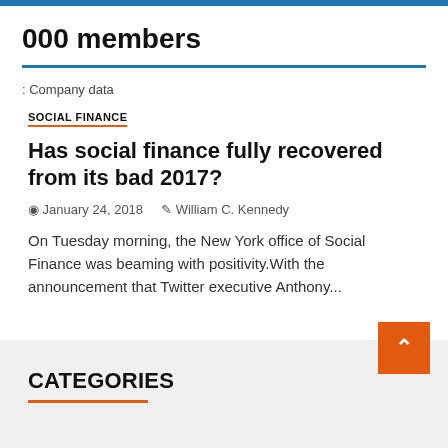000 members
: Company data
SOCIAL FINANCE
Has social finance fully recovered from its bad 2017?
January 24, 2018   William C. Kennedy
On Tuesday morning, the New York office of Social Finance was beaming with positivity.With the announcement that Twitter executive Anthony...
CATEGORIES